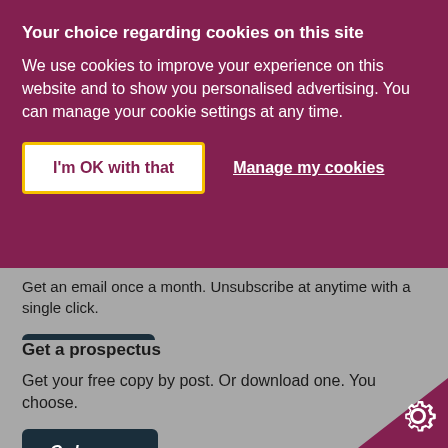Your choice regarding cookies on this site
We use cookies to improve your experience on this website and to show you personalised advertising. You can manage your cookie settings at any time.
I'm OK with that
Manage my cookies
Get an email once a month. Unsubscribe at anytime with a single click.
Subscribe
Get a prospectus
Get your free copy by post. Or download one. You choose.
Order now